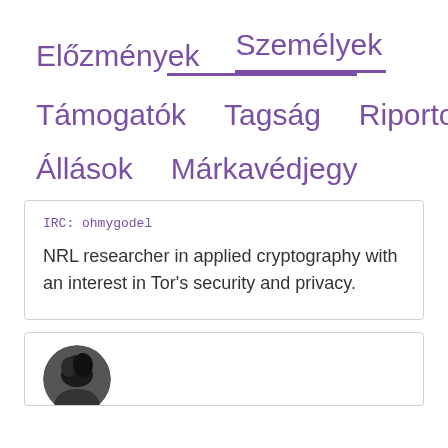Előzmények   Személyek
Támogatók   Tagság   Riportok
Állások   Márkavédjegy
IRC: ohmygodel
NRL researcher in applied cryptography with an interest in Tor's security and privacy.
[Figure (photo): Partial view of a person's photo (avatar/profile picture), showing top of head with dark hair, cropped at bottom of page.]